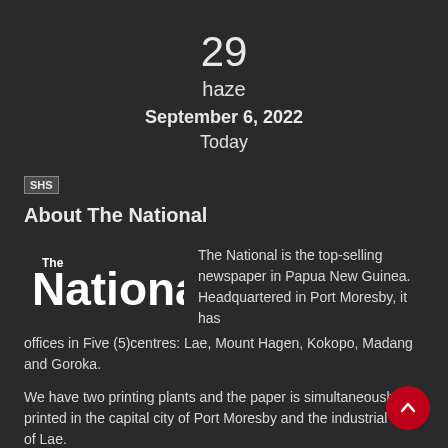29
haze
September 6, 2022
Today
SHS
About The National
[Figure (logo): The National newspaper logo — bold white text on dark background]
The National is the top-selling newspaper in Papua New Guinea. Headquartered in Port Moresby, it has offices in Five (5)centres: Lae, Mount Hagen, Kokopo, Madang and Goroka.
We have two printing plants and the paper is simultaneously printed in the capital city of Port Moresby and the industrial city of Lae.